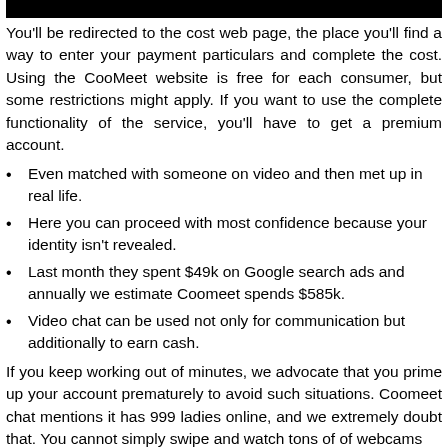You'll be redirected to the cost web page, the place you'll find a way to enter your payment particulars and complete the cost. Using the CooMeet website is free for each consumer, but some restrictions might apply. If you want to use the complete functionality of the service, you'll have to get a premium account.
Even matched with someone on video and then met up in real life.
Here you can proceed with most confidence because your identity isn't revealed.
Last month they spent $49k on Google search ads and annually we estimate Coomeet spends $585k.
Video chat can be used not only for communication but additionally to earn cash.
If you keep working out of minutes, we advocate that you prime up your account prematurely to avoid such situations. Coomeet chat mentions it has 999 ladies online, and we extremely doubt that. You cannot simply swipe and watch tons of of webcams